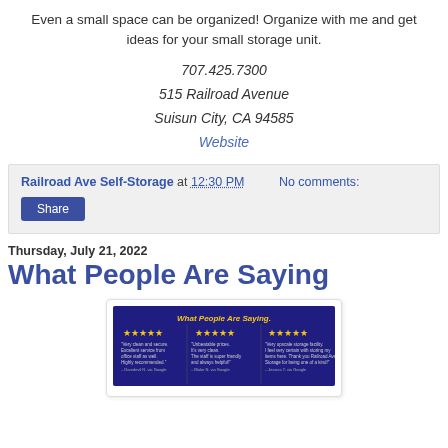Even a small space can be organized! Organize with me and get ideas for your small storage unit.
707.425.7300
515 Railroad Avenue
Suisun City, CA 94585
Website
Railroad Ave Self-Storage at 12:30 PM   No comments:
Share
Thursday, July 21, 2022
What People Are Saying
[Figure (infographic): Banner image titled 'What People Are Saying' with a dark blue background showing three five-star Google reviews from customers of Railroad Ave Self-Storage.]